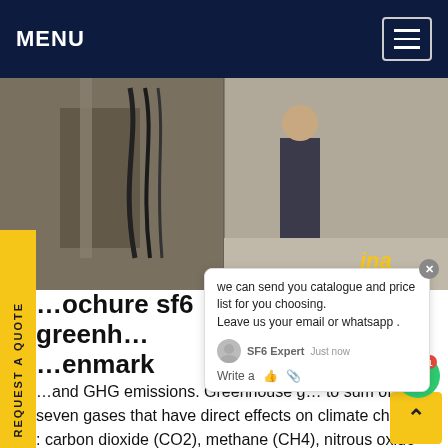MENU
[Figure (photo): Outdoor industrial scene with cables/hoses and a person standing, partially cropped. Two-panel photo collage.]
brochure sf6 greenhouse gas denmark
we can send you catalogue and price list for you choosing. Leave us your email or whatsapp .
and GHG emissions. Greenhouse gases refer to sum of seven gases that have direct effects on climate change : carbon dioxide (CO2), methane (CH4), nitrous oxide (N2O), chlorofluorocarbons (CFCs), hydrofluorocarbons (HFCs), perfluorocarbons (PFCs), sulphur hexafluoride (SF6 gas) and nitrogen trifluoride (NF3).Get price